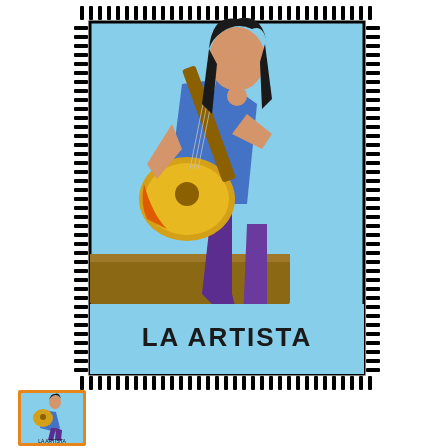[Figure (illustration): Loteria-style card titled 'LA ARTISTA' showing a person with dark hair sitting on a wooden bench, playing a yellow and orange acoustic guitar. The person wears purple flared pants and a blue top. Background is light blue. Card is framed with a decorative black and white dashed/checkered border pattern.]
[Figure (illustration): Small thumbnail version of the same LA ARTISTA loteria card, shown in the bottom-left corner with an orange border.]